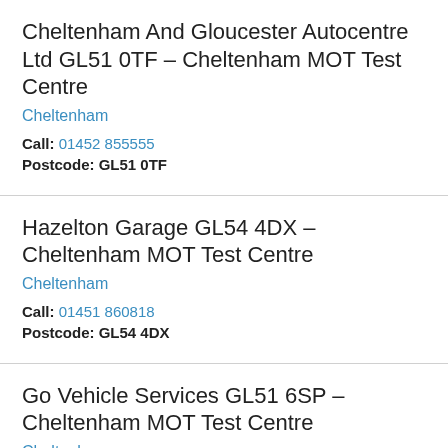Cheltenham And Gloucester Autocentre Ltd GL51 0TF – Cheltenham MOT Test Centre
Cheltenham
Call: 01452 855555
Postcode: GL51 0TF
Hazelton Garage GL54 4DX – Cheltenham MOT Test Centre
Cheltenham
Call: 01451 860818
Postcode: GL54 4DX
Go Vehicle Services GL51 6SP – Cheltenham MOT Test Centre
Cheltenham